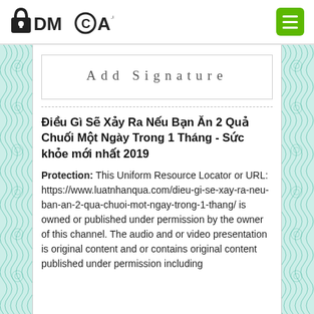DMCA.com — navigation header with logo and menu button
Add Signature
Điều Gì Sẽ Xảy Ra Nếu Bạn Ăn 2 Quả Chuối Một Ngày Trong 1 Tháng - Sức khỏe mới nhất 2019
Protection: This Uniform Resource Locator or URL: https://www.luatnhanqua.com/dieu-gi-se-xay-ra-neu-ban-an-2-qua-chuoi-mot-ngay-trong-1-thang/ is owned or published under permission by the owner of this channel. The audio and or video presentation is original content and or contains original content published under permission including